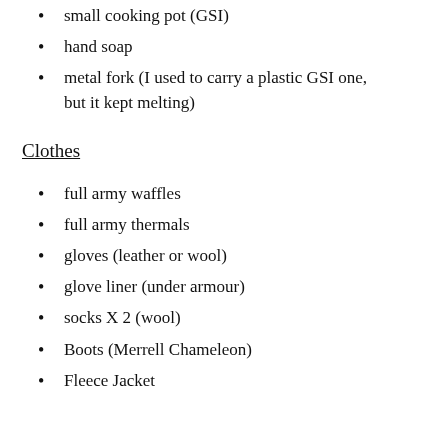small cooking pot (GSI)
hand soap
metal fork (I used to carry a plastic GSI one, but it kept melting)
Clothes
full army waffles
full army thermals
gloves (leather or wool)
glove liner (under armour)
socks X 2 (wool)
Boots (Merrell Chameleon)
Fleece Jacket